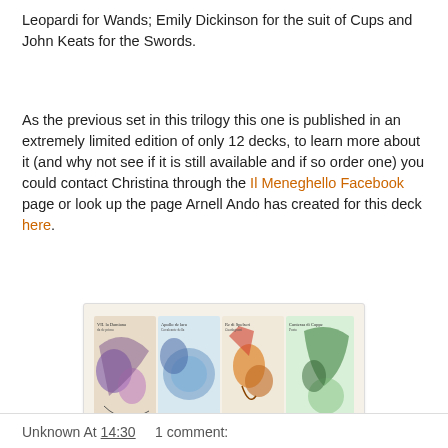Leopardi for Wands; Emily Dickinson for the suit of Cups and John Keats for the Swords.
As the previous set in this trilogy this one is published in an extremely limited edition of only 12 decks, to learn more about it (and why not see if it is still available and if so order one) you could contact Christina through the Il Meneghello Facebook page or look up the page Arnell Ando has created for this deck here.
[Figure (illustration): A horizontal strip of four tarot card images side by side in a light beige framed box. Each card shows illustrated figures with handwritten text, in a colorful artistic style.]
Unknown At 14:30    1 comment: